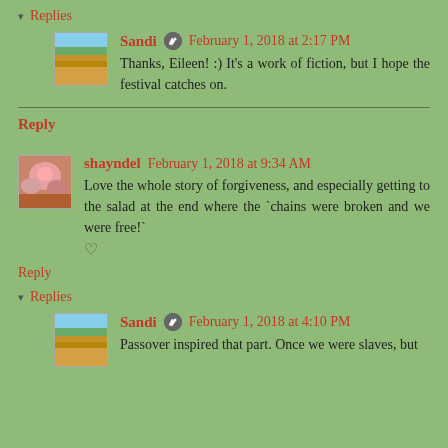▾ Replies
Sandi  ✏  February 1, 2018 at 2:17 PM
Thanks, Eileen! :) It's a work of fiction, but I hope the festival catches on.
Reply
shayndel  February 1, 2018 at 9:34 AM
Love the whole story of forgiveness, and especially getting to the salad at the end where the `chains were broken and we were free!`
♡
Reply
▾ Replies
Sandi  ✏  February 1, 2018 at 4:10 PM
Passover inspired that part. Once we were slaves, but